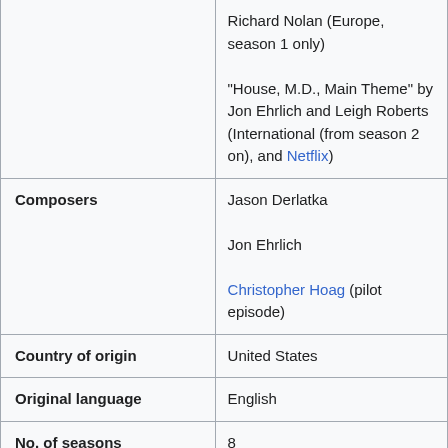| Field | Value |
| --- | --- |
|  | Richard Nolan (Europe, season 1 only)
"House, M.D., Main Theme" by Jon Ehrlich and Leigh Roberts (International (from season 2 on), and Netflix) |
| Composers | Jason Derlatka
Jon Ehrlich
Christopher Hoag (pilot episode) |
| Country of origin | United States |
| Original language | English |
| No. of seasons | 8 |
| No. of episodes | 177 (list of episodes) |